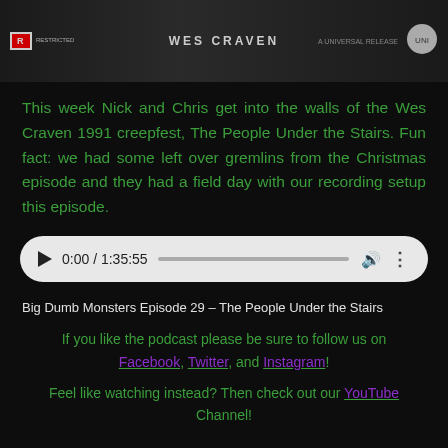[Figure (screenshot): Movie banner/header image showing a film title card with R rating badge and Universal release text for a Wes Craven film]
This week Nick and Chris get into the walls of the Wes Craven 1991 creepfest, The People Under the Stairs. Fun fact: we had some left over gremlins from the Christmas episode and they had a field day with our recording setup this episode.
[Figure (screenshot): Audio player widget showing 0:00 / 1:35:55 with play button, progress bar, volume and more icons]
Big Dumb Monsters Episode 29 – The People Under the Stairs
If you like the podcast please be sure to follow us on Facebook, Twitter, and Instagram!
Feel like watching instead? Then check out our YouTube Channel!